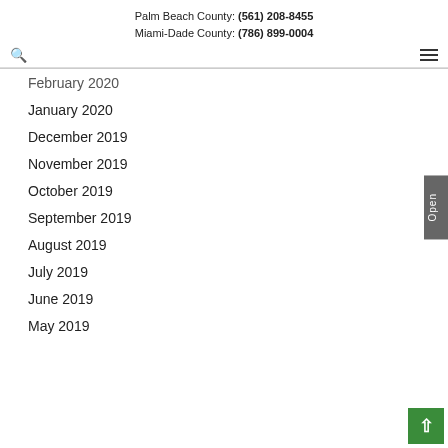Palm Beach County: (561) 208-8455
Miami-Dade County: (786) 899-0004
February 2020
January 2020
December 2019
November 2019
October 2019
September 2019
August 2019
July 2019
June 2019
May 2019